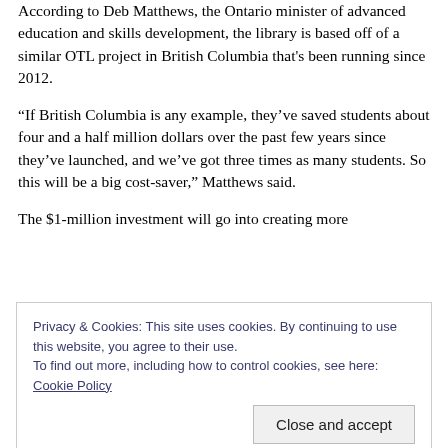According to Deb Matthews, the Ontario minister of advanced education and skills development, the library is based off of a similar OTL project in British Columbia that's been running since 2012.
“If British Columbia is any example, they’ve saved students about four and a half million dollars over the past few years since they’ve launched, and we’ve got three times as many students. So this will be a big cost-saver,” Matthews said.
The $1-million investment will go into creating more
Privacy & Cookies: This site uses cookies. By continuing to use this website, you agree to their use.
To find out more, including how to control cookies, see here: Cookie Policy